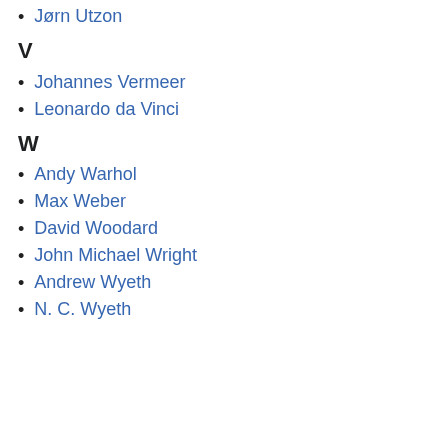Jørn Utzon
V
Johannes Vermeer
Leonardo da Vinci
W
Andy Warhol
Max Weber
David Woodard
John Michael Wright
Andrew Wyeth
N. C. Wyeth